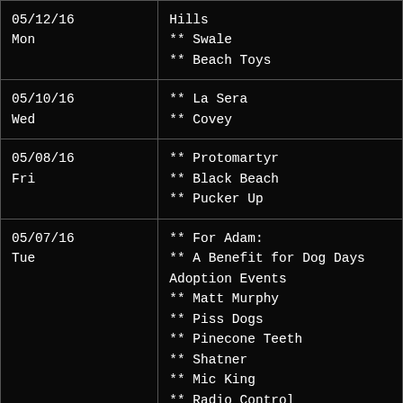| Date | Events |
| --- | --- |
| 05/12/16
Mon | Hills
** Swale
** Beach Toys |
| 05/10/16
Wed | ** La Sera
** Covey |
| 05/08/16
Fri | ** Protomartyr
** Black Beach
** Pucker Up |
| 05/07/16
Tue | ** For Adam:
** A Benefit for Dog Days Adoption Events
** Matt Murphy
** Piss Dogs
** Pinecone Teeth
** Shatner
** Mic King
** Radio Control
** The Alrighters
** Erik Petersen of Mischief Brew
** Jeff Rowe |